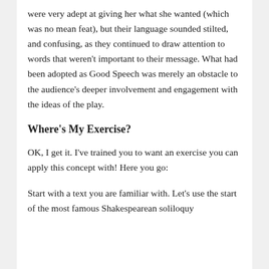were very adept at giving her what she wanted (which was no mean feat), but their language sounded stilted, and confusing, as they continued to draw attention to words that weren't important to their message. What had been adopted as Good Speech was merely an obstacle to the audience's deeper involvement and engagement with the ideas of the play.
Where's My Exercise?
OK, I get it. I've trained you to want an exercise you can apply this concept with! Here you go:
Start with a text you are familiar with. Let's use the start of the most famous Shakespearean soliloquy